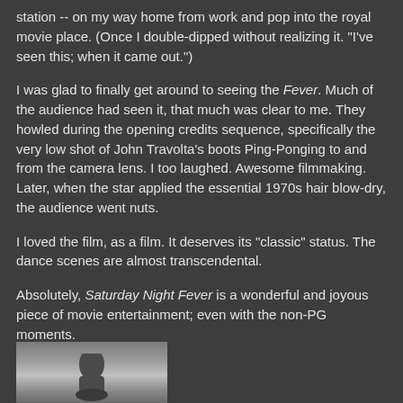station -- on my way home from work and pop into the royal movie place. (Once I double-dipped without realizing it. "I've seen this; when it came out.")
I was glad to finally get around to seeing the Fever. Much of the audience had seen it, that much was clear to me. They howled during the opening credits sequence, specifically the very low shot of John Travolta's boots Ping-Ponging to and from the camera lens. I too laughed. Awesome filmmaking. Later, when the star applied the essential 1970s hair blow-dry, the audience went nuts.
I loved the film, as a film. It deserves its "classic" status. The dance scenes are almost transcendental.
Absolutely, Saturday Night Fever is a wonderful and joyous piece of movie entertainment; even with the non-PG moments.
[Figure (photo): Partial photo at bottom of page showing what appears to be a boot or shoe against a grey background]